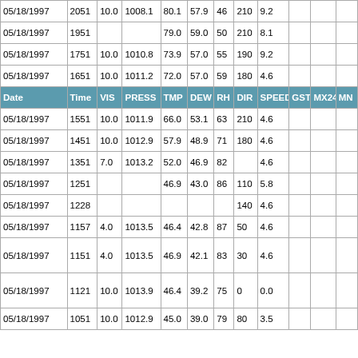| Date | Time | VIS | PRESS | TMP | DEW | RH | DIR | SPEED | GST | MX24 | MN |
| --- | --- | --- | --- | --- | --- | --- | --- | --- | --- | --- | --- |
| 05/18/1997 | 2051 | 10.0 | 1008.1 | 80.1 | 57.9 | 46 | 210 | 9.2 |  |  |  |
| 05/18/1997 | 1951 |  |  | 79.0 | 59.0 | 50 | 210 | 8.1 |  |  |  |
| 05/18/1997 | 1751 | 10.0 | 1010.8 | 73.9 | 57.0 | 55 | 190 | 9.2 |  |  |  |
| 05/18/1997 | 1651 | 10.0 | 1011.2 | 72.0 | 57.0 | 59 | 180 | 4.6 |  |  |  |
| 05/18/1997 | 1551 | 10.0 | 1011.9 | 66.0 | 53.1 | 63 | 210 | 4.6 |  |  |  |
| 05/18/1997 | 1451 | 10.0 | 1012.9 | 57.9 | 48.9 | 71 | 180 | 4.6 |  |  |  |
| 05/18/1997 | 1351 | 7.0 | 1013.2 | 52.0 | 46.9 | 82 |  | 4.6 |  |  |  |
| 05/18/1997 | 1251 |  |  | 46.9 | 43.0 | 86 | 110 | 5.8 |  |  |  |
| 05/18/1997 | 1228 |  |  |  |  |  | 140 | 4.6 |  |  |  |
| 05/18/1997 | 1157 | 4.0 | 1013.5 | 46.4 | 42.8 | 87 | 50 | 4.6 |  |  |  |
| 05/18/1997 | 1151 | 4.0 | 1013.5 | 46.9 | 42.1 | 83 | 30 | 4.6 |  |  |  |
| 05/18/1997 | 1121 | 10.0 | 1013.9 | 46.4 | 39.2 | 75 | 0 | 0.0 |  |  |  |
| 05/18/1997 | 1051 | 10.0 | 1012.9 | 45.0 | 39.0 | 79 | 80 | 3.5 |  |  |  |